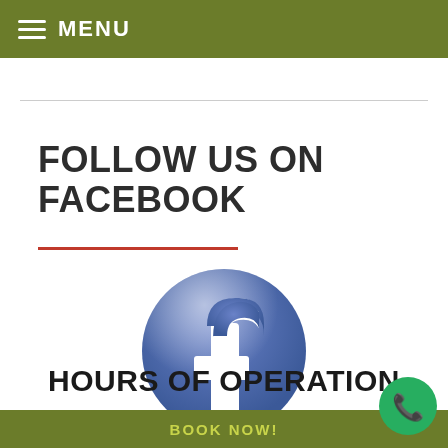MENU
FOLLOW US ON FACEBOOK
[Figure (logo): Facebook logo — blue circular button with white 'f' letterform]
HOURS OF OPERATION
BOOK NOW!